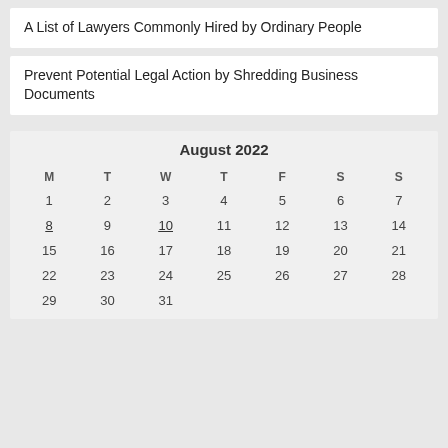A List of Lawyers Commonly Hired by Ordinary People
Prevent Potential Legal Action by Shredding Business Documents
| M | T | W | T | F | S | S |
| --- | --- | --- | --- | --- | --- | --- |
| 1 | 2 | 3 | 4 | 5 | 6 | 7 |
| 8 | 9 | 10 | 11 | 12 | 13 | 14 |
| 15 | 16 | 17 | 18 | 19 | 20 | 21 |
| 22 | 23 | 24 | 25 | 26 | 27 | 28 |
| 29 | 30 | 31 |  |  |  |  |